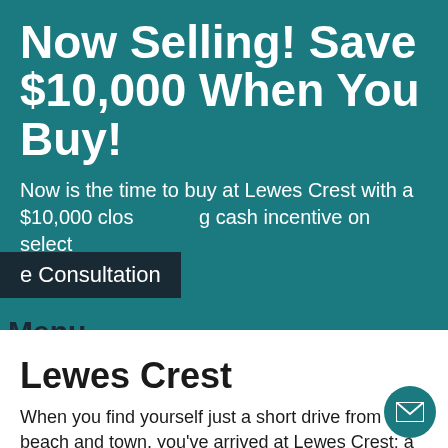Now Selling! Save $10,000 When You Buy!
Now is the time to buy at Lewes Crest with a $10,000 closing cash incentive on select
e Consultation
Menu
Lewes Crest
When you find yourself just a short drive from the beach and town, you've arrived at Lewes Crest: a